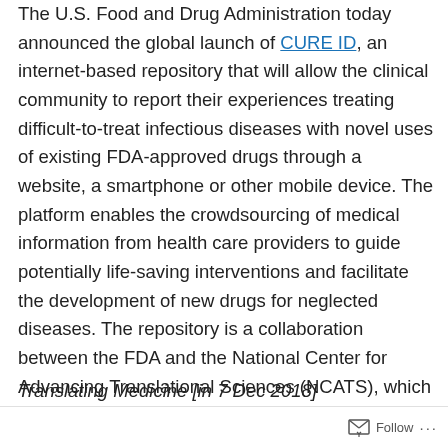The U.S. Food and Drug Administration today announced the global launch of CURE ID, an internet-based repository that will allow the clinical community to report their experiences treating difficult-to-treat infectious diseases with novel uses of existing FDA-approved drugs through a website, a smartphone or other mobile device. The platform enables the crowdsourcing of medical information from health care providers to guide potentially life-saving interventions and facilitate the development of new drugs for neglected diseases. The repository is a collaboration between the FDA and the National Center for Advancing Translational Sciences (NCATS), which is part of the National Institutes of Health (NIH)…
Translating Medicine [in 7 Dec 2018]
Follow ···